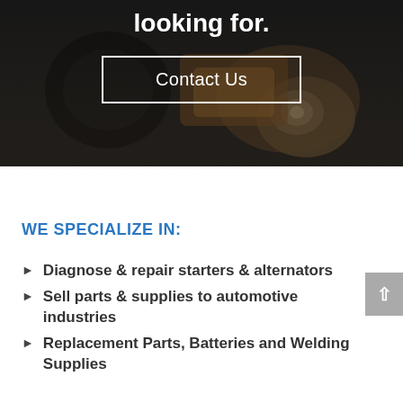[Figure (photo): Dark background with mechanic/engine parts visible, serving as hero section background]
looking for.
Contact Us
WE SPECIALIZE IN:
Diagnose & repair starters & alternators
Sell parts & supplies to automotive industries
Replacement Parts, Batteries and Welding Supplies